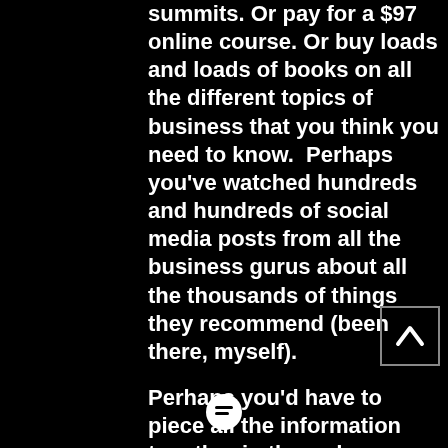summits. Or pay for a $97 online course. Or buy loads and loads of books on all the different topics of business that you think you need to know.  Perhaps you've watched hundreds and hundreds of social media posts from all the business gurus about all the thousands of things they recommend (been there, myself).
Perhaps you'd have to piece all the information together in the order you think you need (been there as well).
This road is long and hard, but for many people... they think this is the only way.